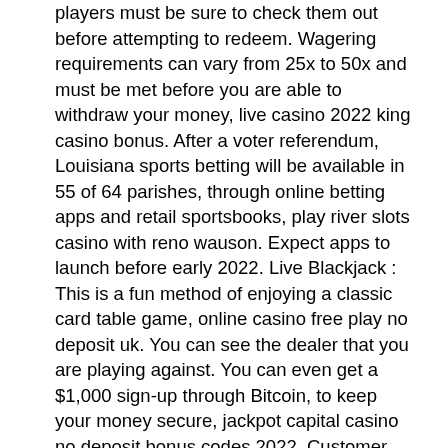players must be sure to check them out before attempting to redeem. Wagering requirements can vary from 25x to 50x and must be met before you are able to withdraw your money, live casino 2022 king casino bonus. After a voter referendum, Louisiana sports betting will be available in 55 of 64 parishes, through online betting apps and retail sportsbooks, play river slots casino with reno wauson. Expect apps to launch before early 2022. Live Blackjack : This is a fun method of enjoying a classic card table game, online casino free play no deposit uk. You can see the dealer that you are playing against. You can even get a $1,000 sign-up through Bitcoin, to keep your money secure, jackpot capital casino no deposit bonus codes 2022. Customer service is very important to them and they have a 24/7 line to assist you with anything. To wrap up everything about casino apps paying real money, based on this review and the